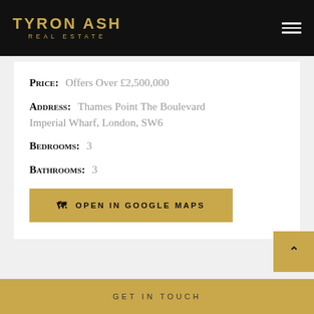TYRON ASH REAL ESTATE
Price: Offers Over £2,500,000
Address: Thames Point The Boulevard Imperial Wharf, London, SW6
Bedrooms: 3
Bathrooms: 3
OPEN IN GOOGLE MAPS
GET IN TOUCH